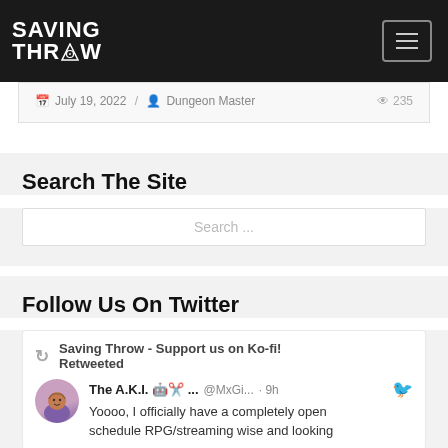Saving Throw [logo] — navigation menu button
July 19, 2022 / Dungeon Master   235
Search The Site
Search ...
Follow Us On Twitter
Saving Throw - Support us on Ko-fi! Retweeted
The A.K.I. 🤖✂️ ...  @MxGi...  · 9h  — Yoooo, I officially have a completely open schedule RPG/streaming wise and looking